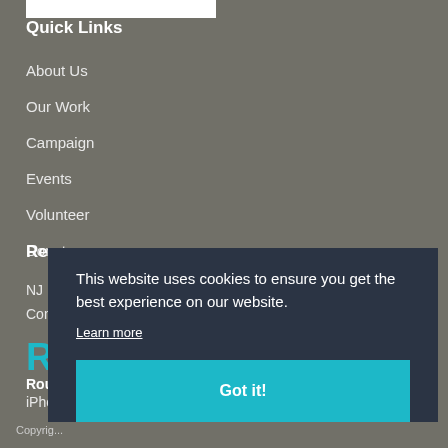[Figure (logo): Partial logo image at top left, white background]
Quick Links
About Us
Our Work
Campaign
Events
Volunteer
Donate
Re...
NJ ...
Con...
R...
Rou...
iPho...
This website uses cookies to ensure you get the best experience on our website. Learn more Got it!
Copyrig...